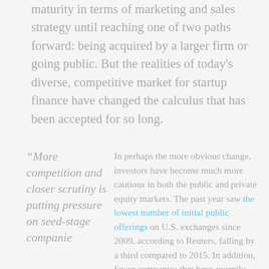maturity in terms of marketing and sales strategy until reaching one of two paths forward: being acquired by a larger firm or going public. But the realities of today's diverse, competitive market for startup finance have changed the calculus that has been accepted for so long.
“More competition and closer scrutiny is putting pressure on seed-stage companie
In perhaps the more obvious change, investors have become much more cautious in both the public and private equity markets. The past year saw the lowest number of initial public offerings on U.S. exchanges since 2009, according to Reuters, falling by a third compared to 2015. In addition, fewer companies that have recently gone public are beating their IPO